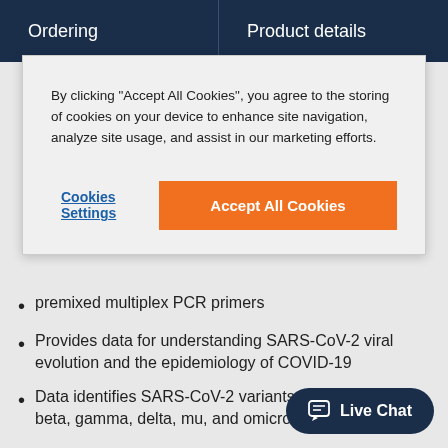Ordering | Product details
[Figure (screenshot): Cookie consent modal with 'Cookies Settings' link and 'Accept All Cookies' orange button]
By clicking "Accept All Cookies", you agree to the storing of cookies on your device to enhance site navigation, analyze site usage, and assist in our marketing efforts.
premixed multiplex PCR primers
Provides data for understanding SARS-CoV-2 viral evolution and the epidemiology of COVID-19
Data identifies SARS-CoV-2 variants, including alpha, beta, gamma, delta, mu, and omicron
Panel generates 29 tiled amplicons approximately 1200 bp in length
Panel is optimized for high throughput applications or